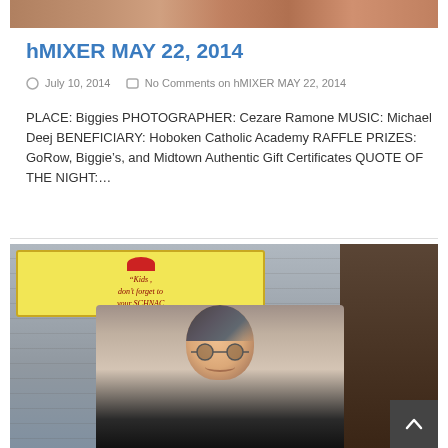[Figure (photo): Partial top crop of a food or event photo at the very top of the page]
hMIXER MAY 22, 2014
July 10, 2014   No Comments on hMIXER MAY 22, 2014
PLACE: Biggies PHOTOGRAPHER: Cezare Ramone MUSIC: Michael Deej BENEFICIARY: Hoboken Catholic Academy RAFFLE PRIZES: GoRow, Biggie’s, and Midtown Authentic Gift Certificates QUOTE OF THE NIGHT:...
[Figure (photo): Photo of a middle-aged man with glasses and disheveled hair smiling, standing in front of a yellow vintage-style sign that reads 'Kids, don't forget to eat your SCHNACK' and a dark wood wall. A dark scroll-to-top button is visible in the bottom right.]